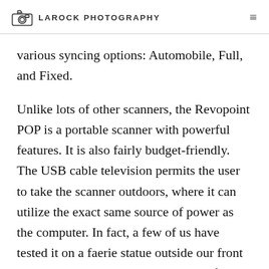LAROCK PHOTOGRAPHY
various syncing options: Automobile, Full, and Fixed.
Unlike lots of other scanners, the Revopoint POP is a portable scanner with powerful features. It is also fairly budget-friendly. The USB cable television permits the user to take the scanner outdoors, where it can utilize the exact same source of power as the computer. In fact, a few of us have tested it on a faerie statue outside our front yard. The design duplicated the specific size and